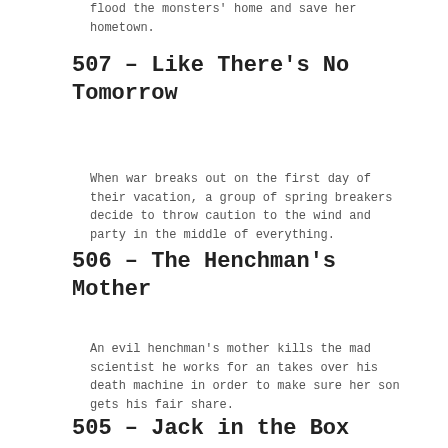flood the monsters' home and save her hometown.
507 - Like There's No Tomorrow
When war breaks out on the first day of their vacation, a group of spring breakers decide to throw caution to the wind and party in the middle of everything.
506 - The Henchman's Mother
An evil henchman's mother kills the mad scientist he works for an takes over his death machine in order to make sure her son gets his fair share.
505 - Jack in the Box